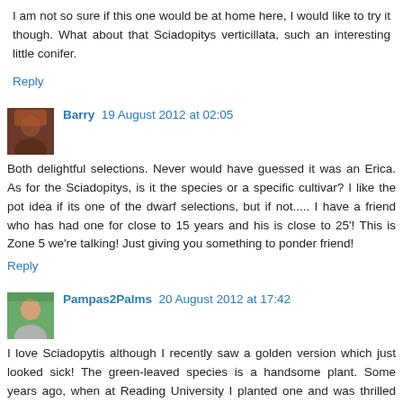I am not so sure if this one would be at home here, I would like to try it though. What about that Sciadopitys verticillata, such an interesting little conifer.
Reply
Barry 19 August 2012 at 02:05
Both delightful selections. Never would have guessed it was an Erica. As for the Sciadopitys, is it the species or a specific cultivar? I like the pot idea if its one of the dwarf selections, but if not..... I have a friend who has had one for close to 15 years and his is close to 25'! This is Zone 5 we're talking! Just giving you something to ponder friend!
Reply
Pampas2Palms 20 August 2012 at 17:42
I love Sciadopytis although I recently saw a golden version which just looked sick! The green-leaved species is a handsome plant. Some years ago, when at Reading University I planted one and was thrilled when it reached